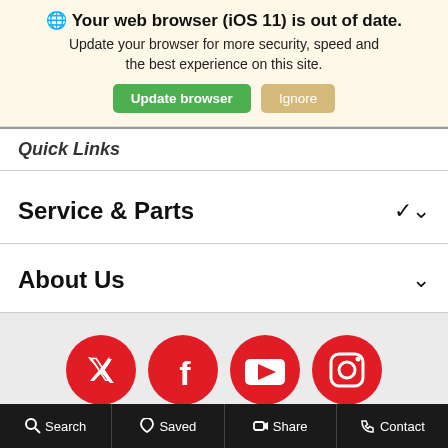🌐 Your web browser (iOS 11) is out of date. Update your browser for more security, speed and the best experience on this site.
Update browser | Ignore
Quick Links
Service & Parts
About Us
[Figure (infographic): Four red circular social media icons: Twitter, Facebook, YouTube, Instagram]
COPYRIGHT © 2022 MOUNT AIRY TOYOTA
Search   Saved   Share   Contact